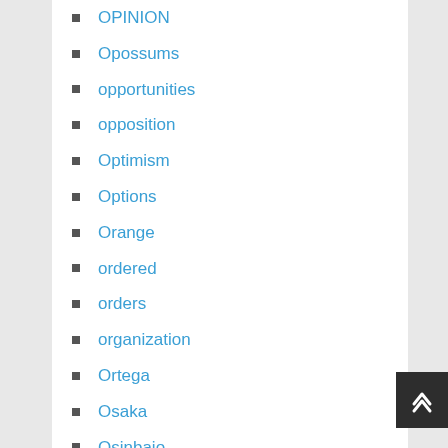OPINION
Opossums
opportunities
opposition
Optimism
Options
Orange
ordered
orders
organization
Ortega
Osaka
Osinbajo
Other
Outage